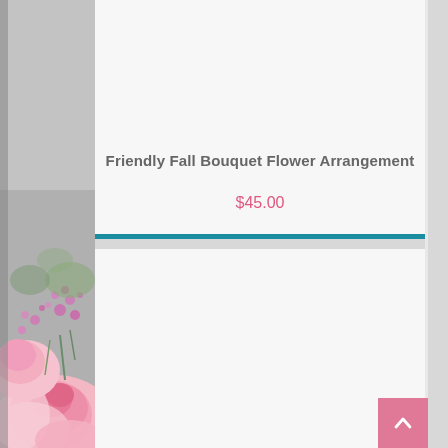Friendly Fall Bouquet Flower Arrangement
$45.00
[Figure (photo): Floral bouquet photo partially visible on the left side of the page, showing pink roses and purple/pink wildflowers with green foliage]
[Figure (other): Scroll-to-top button with upward chevron arrow, pink background, located in bottom-right corner]